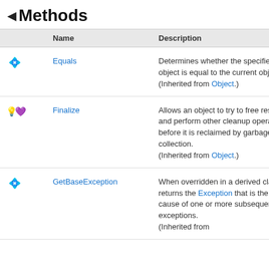Methods
|  | Name | Description |
| --- | --- | --- |
| [icon] | Equals | Determines whether the specified object is equal to the current object. (Inherited from Object.) |
| [icon] | Finalize | Allows an object to try to free resources and perform other cleanup operations before it is reclaimed by garbage collection. (Inherited from Object.) |
| [icon] | GetBaseException | When overridden in a derived class, returns the Exception that is the root cause of one or more subsequent exceptions. (Inherited from |